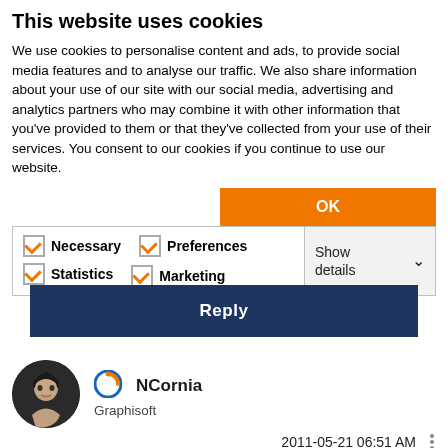This website uses cookies
We use cookies to personalise content and ads, to provide social media features and to analyse our traffic. We also share information about your use of our site with our social media, advertising and analytics partners who may combine it with other information that you've provided to them or that they've collected from your use of their services. You consent to our cookies if you continue to use our website.
OK
Necessary  Preferences  Statistics  Marketing  Show details
Reply
NCornia
Graphisoft
2011-05-21 06:51 AM
Tim,